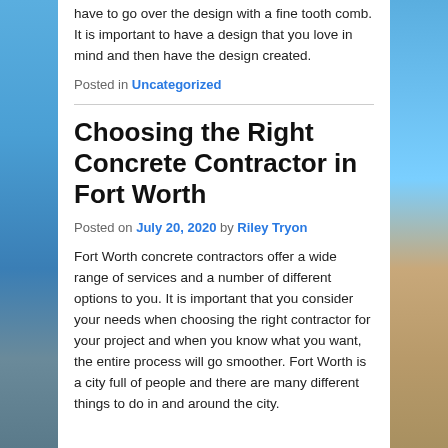have to go over the design with a fine tooth comb. It is important to have a design that you love in mind and then have the design created.
Posted in Uncategorized
Choosing the Right Concrete Contractor in Fort Worth
Posted on July 20, 2020 by Riley Tryon
Fort Worth concrete contractors offer a wide range of services and a number of different options to you. It is important that you consider your needs when choosing the right contractor for your project and when you know what you want, the entire process will go smoother. Fort Worth is a city full of people and there are many different things to do in and around the city.